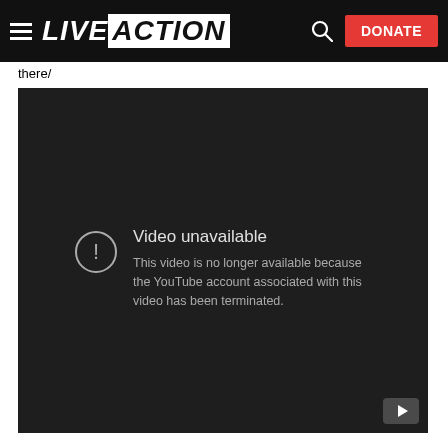LIVE ACTION — DONATE
there/
[Figure (screenshot): YouTube embedded video player showing error message: 'Video unavailable — This video is no longer available because the YouTube account associated with this video has been terminated.']